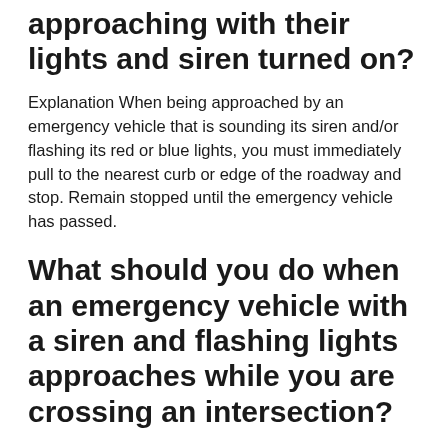approaching with their lights and siren turned on?
Explanation When being approached by an emergency vehicle that is sounding its siren and/or flashing its red or blue lights, you must immediately pull to the nearest curb or edge of the roadway and stop. Remain stopped until the emergency vehicle has passed.
What should you do when an emergency vehicle with a siren and flashing lights approaches while you are crossing an intersection?